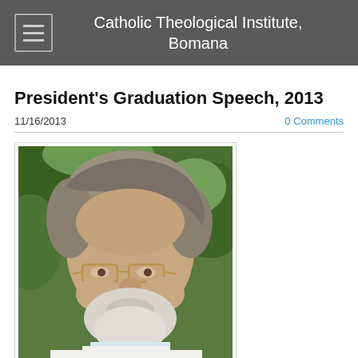Catholic Theological Institute, Bomana
President's Graduation Speech, 2013
11/16/2013
0 Comments
[Figure (photo): Portrait photograph of an older man with grey-white beard and hair, wearing gold-rimmed glasses and a white shirt, with green foliage in the background.]